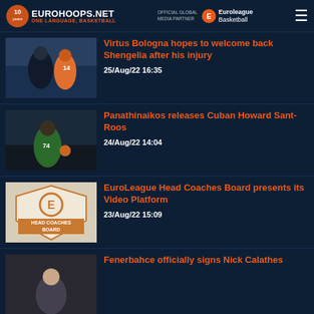EUROHOOPS.NET — ONE LANGUAGE, BASKETBALL | Official Global Media Partner Euroleague Basketball
Virtus Bologna hopes to welcome back Shengelia after his injury
25/Aug/22 16:35
Panathinaikos releases Cuban Howard Sant-Roos
24/Aug/22 14:04
EuroLeague Head Coaches Board presents its Video Platform
23/Aug/22 15:09
Fenerbahce officially signs Nick Calathes